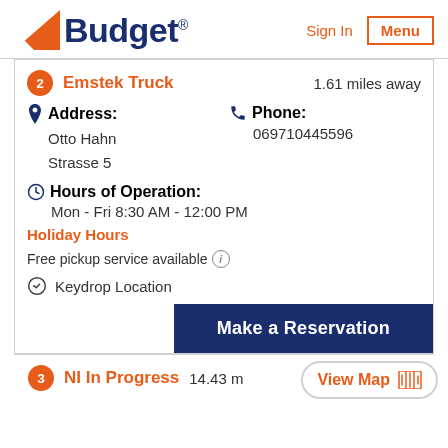[Figure (logo): Budget car rental logo with orange triangle and dark blue text]
Sign In
Menu
2  Emstek Truck   1.61 miles away
Address:
Otto Hahn
Strasse 5
Phone:
069710445596
Hours of Operation:
Mon - Fri 8:30 AM - 12:00 PM
Holiday Hours
Free pickup service available
Keydrop Location
Make a Reservation
3  NI In Progress   14.43 miles away
View Map